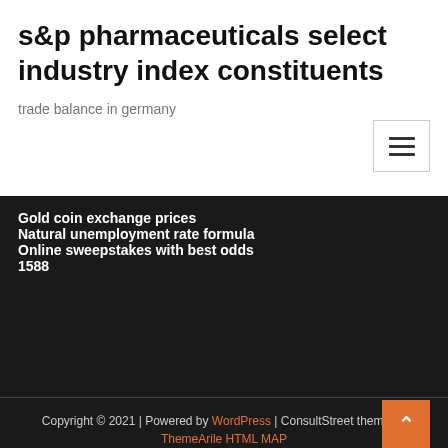s&p pharmaceuticals select industry index constituents
trade balance in germany
Gold coin exchange prices
Natural unemployment rate formula
Online sweepstakes with best odds
1588
Copyright © 2021 | Powered by WordPress | ConsultStreet theme by ThemeArile HTML MAP